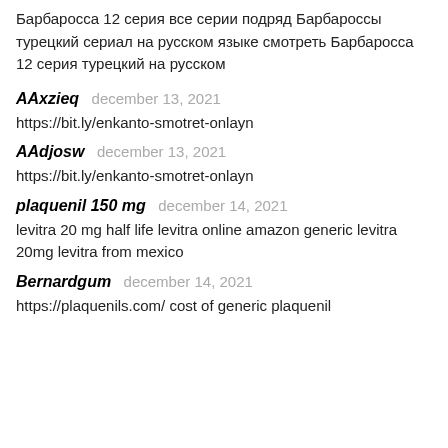Барбаросса 12 серия все серии подряд Барбароссы турецкий сериал на русском языке смотреть Барбаросса 12 серия турецкий на русском
AAxzieq december 13, 2021
https://bit.ly/enkanto-smotret-onlayn
AAdjosw december 13, 2021
https://bit.ly/enkanto-smotret-onlayn
plaquenil 150 mg december 14, 2021
levitra 20 mg half life levitra online amazon generic levitra 20mg levitra from mexico
Bernardgum december 14, 2021
https://plaquenils.com/ cost of generic plaquenil